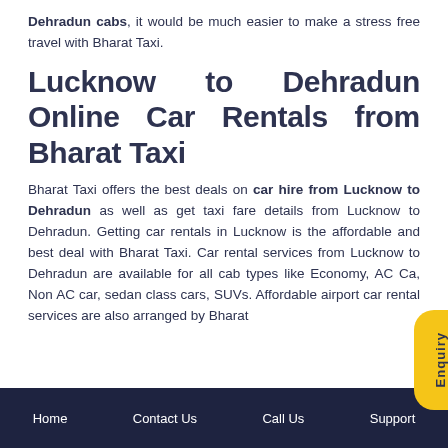Dehradun cabs, it would be much easier to make a stress free travel with Bharat Taxi.
Lucknow to Dehradun Online Car Rentals from Bharat Taxi
Bharat Taxi offers the best deals on car hire from Lucknow to Dehradun as well as get taxi fare details from Lucknow to Dehradun. Getting car rentals in Lucknow is the affordable and best deal with Bharat Taxi. Car rental services from Lucknow to Dehradun are available for all cab types like Economy, AC Car, Non AC car, sedan class cars, SUVs. Affordable airport car rental services are also arranged by Bharat
Home   Contact Us   Call Us   Support